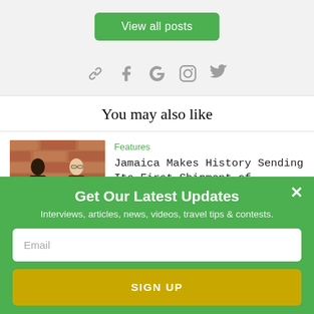View all posts
[Figure (infographic): Row of social media icons: link/chain, Facebook f, Google G, Instagram, Twitter bird — all in grey]
You may also like
[Figure (photo): Two people holding rolls of toilet paper against a brick wall background]
Features
Jamaica Makes History Sending Its First Shipment of...
Get Our Latest Updates
Interviews, articles, news, videos, travel tips & contests.
Email
SIGN UP